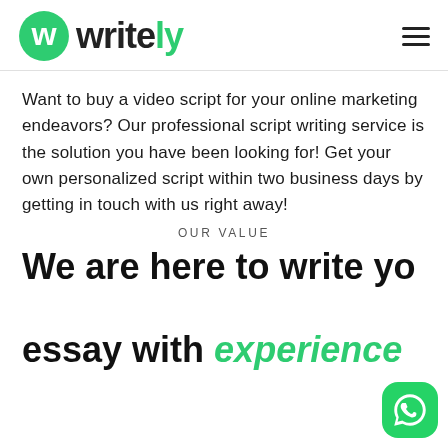writely (logo with hamburger menu)
Want to buy a video script for your online marketing endeavors? Our professional script writing service is the solution you have been looking for! Get your own personalized script within two business days by getting in touch with us right away!
OUR VALUE
We are here to write your essay with experience